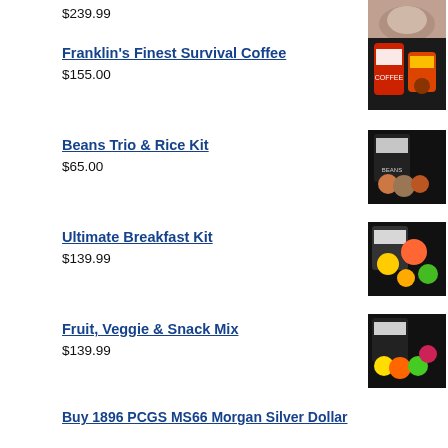$239.99
Franklin's Finest Survival Coffee — $155.00
Beans Trio & Rice Kit — $65.00
Ultimate Breakfast Kit — $139.99
Fruit, Veggie & Snack Mix — $139.99
Buy 1896 PCGS MS66 Morgan Silver Dollar — was $299.00, now $275.00
Buy 1809 PCGS AU50 Silver Draped Bust 50 Cent — was $210.00, now $199.00
Buy 1806 PCGS VF 30 Silver Draped Bust 50 Cent Coin — was $925.00, now $899.00